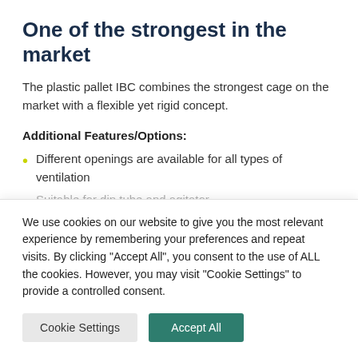One of the strongest in the market
The plastic pallet IBC combines the strongest cage on the market with a flexible yet rigid concept.
Additional Features/Options:
Different openings are available for all types of ventilation
Suitable for dip tube and agitator
We use cookies on our website to give you the most relevant experience by remembering your preferences and repeat visits. By clicking "Accept All", you consent to the use of ALL the cookies. However, you may visit "Cookie Settings" to provide a controlled consent.